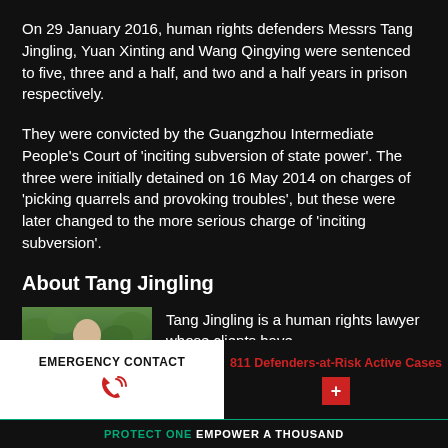On 29 January 2016, human rights defenders Messrs Tang Jingling, Yuan Xinting and Wang Qingying were sentenced to five, three and a half, and two and a half years in prison respectively.
They were convicted by the Guangzhou Intermediate People's Court of 'inciting subversion of state power'. The three were initially detained on 16 May 2014 on charges of 'picking quarrels and provoking troubles', but these were later changed to the more serious charge of 'inciting subversion'.
About Tang Jingling
[Figure (photo): Photo of Tang Jingling, a human rights lawyer, shown outdoors with trees in the background]
Tang Jingling is a human rights lawyer whose clients have
EMERGENCY CONTACT
811 Defenders-at-Risk Active Cases
PROTECT ONE EMPOWER A THOUSAND